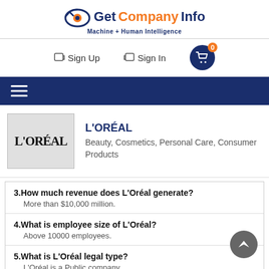[Figure (logo): GetCompanyInfo logo with eye/checkmark icon and tagline 'Machine + Human Intelligence']
Sign Up   Sign In   Cart (0)
[Figure (other): Navigation hamburger menu bar (dark navy background)]
[Figure (logo): L'OREAL company logo in grey box]
L'ORÉAL
Beauty, Cosmetics, Personal Care, Consumer Products
3.How much revenue does L'Oréal generate?
    More than $10,000 million.
4.What is employee size of L'Oréal?
    Above 10000 employees.
5.What is L'Oréal legal type?
    L'Oréal is a Public company.